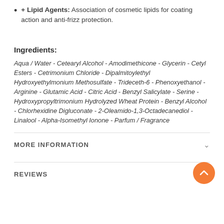+ Lipid Agents: Association of cosmetic lipids for coating action and anti-frizz protection.
Ingredients:
Aqua / Water - Cetearyl Alcohol - Amodimethicone - Glycerin - Cetyl Esters - Cetrimonium Chloride - Dipalmitoylethyl Hydroxyethylmonium Methosulfate - Trideceth-6 - Phenoxyethanol - Arginine - Glutamic Acid - Citric Acid - Benzyl Salicylate - Serine - Hydroxypropyltrimonium Hydrolyzed Wheat Protein - Benzyl Alcohol - Chlorhexidine Digluconate - 2-Oleamido-1,3-Octadecanediol - Linalool - Alpha-Isomethyl Ionone - Parfum / Fragrance
MORE INFORMATION
REVIEWS